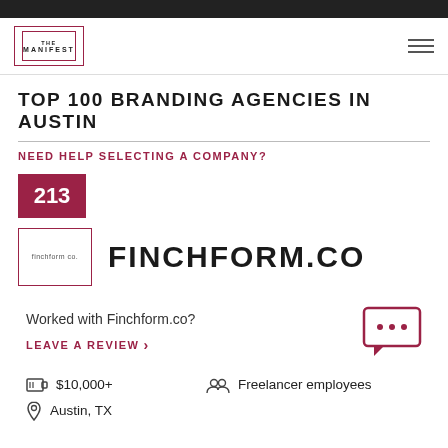THE MANIFEST
TOP 100 BRANDING AGENCIES IN AUSTIN
NEED HELP SELECTING A COMPANY?
213
[Figure (logo): Finchform co. logo in a bordered box]
FINCHFORM.CO
Worked with Finchform.co?
LEAVE A REVIEW >
$10,000+
Freelancer employees
Austin, TX